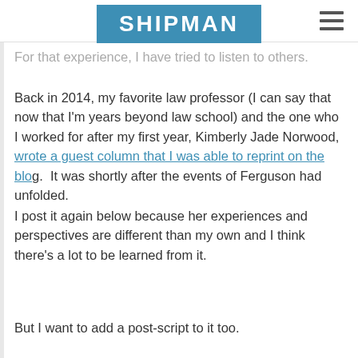in America.
[Figure (logo): SHIPMAN logo in white text on blue/teal background]
For that experience, I have tried to listen to others.
Back in 2014, my favorite law professor (I can say that now that I'm years beyond law school) and the one who I worked for after my first year, Kimberly Jade Norwood, wrote a guest column that I was able to reprint on the blog.  It was shortly after the events of Ferguson had unfolded.
I post it again below because her experiences and perspectives are different than my own and I think there's a lot to be learned from it.
But I want to add a post-script to it too.